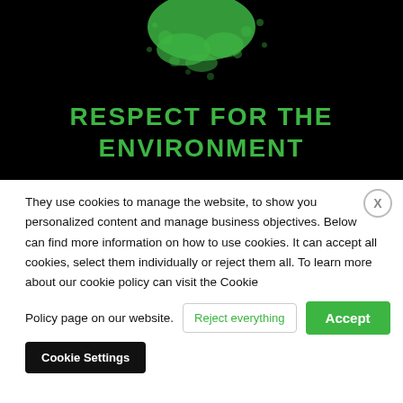[Figure (illustration): Black background with green splatter/paint blob at the top center, resembling an environmental/nature themed graphic.]
RESPECT FOR THE ENVIRONMENT
They use cookies to manage the website, to show you personalized content and manage business objectives. Below can find more information on how to use cookies. It can accept all cookies, select them individually or reject them all. To learn more about our cookie policy can visit the Cookie Policy page on our website.
Reject everything
Accept
Cookie Settings